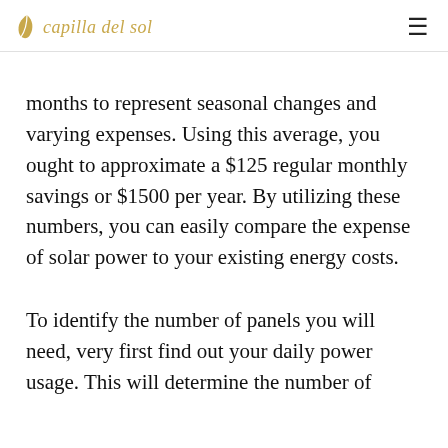capilla del sol
months to represent seasonal changes and varying expenses. Using this average, you ought to approximate a $125 regular monthly savings or $1500 per year. By utilizing these numbers, you can easily compare the expense of solar power to your existing energy costs.
To identify the number of panels you will need, very first find out your daily power usage. This will determine the number of